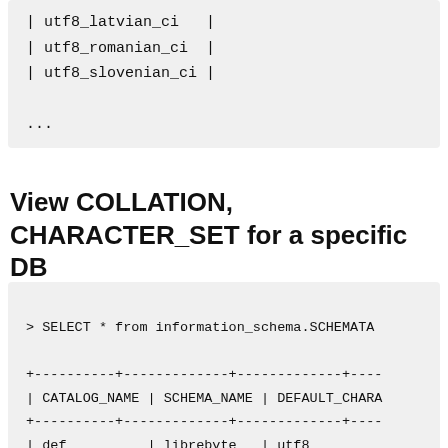| utf8_latvian_ci  |
| utf8_romanian_ci |
| utf8_slovenian_ci |
...
View COLLATION, CHARACTER_SET for a specific DB
> SELECT * from information_schema.SCHEMATA
+----------+-------------+-------------+----
| CATALOG_NAME | SCHEMA_NAME | DEFAULT_CHARA
+----------+-------------+-------------+----
| def          | librebyte   | utf8
+----------+-------------+-------------+----